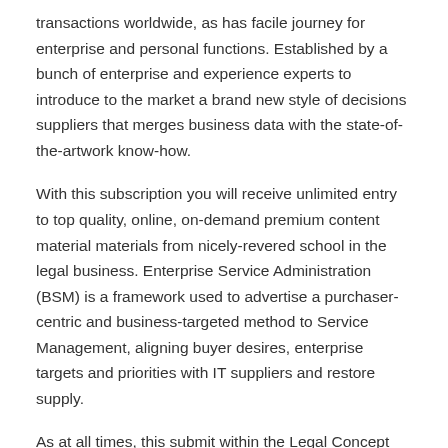transactions worldwide, as has facile journey for enterprise and personal functions. Established by a bunch of enterprise and experience experts to introduce to the market a brand new style of decisions suppliers that merges business data with the state-of-the-artwork know-how.
With this subscription you will receive unlimited entry to top quality, online, on-demand premium content material materials from nicely-revered school in the legal business. Enterprise Service Administration (BSM) is a framework used to advertise a purchaser-centric and business-targeted method to Service Management, aligning buyer desires, enterprise targets and priorities with IT suppliers and restore supply.
As at all times, this submit within the Legal Concept basically is inspired to cowl legislation students...